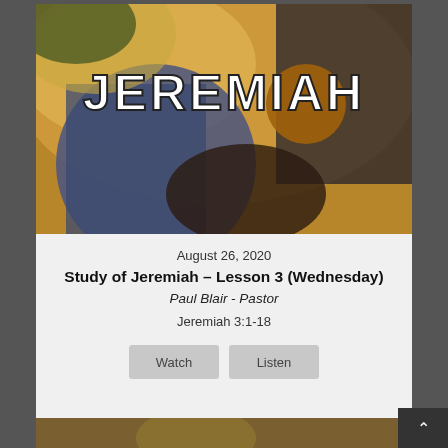[Figure (illustration): Painted illustration of the prophet Jeremiah with robes and armor, golden/amber background, with large white outlined text JEREMIAH overlaid on top]
August 26, 2020
Study of Jeremiah – Lesson 3 (Wednesday)
Paul Blair - Pastor
Jeremiah 3:1-18
Watch
Listen
[Figure (photo): Partial view of another card below showing a person]